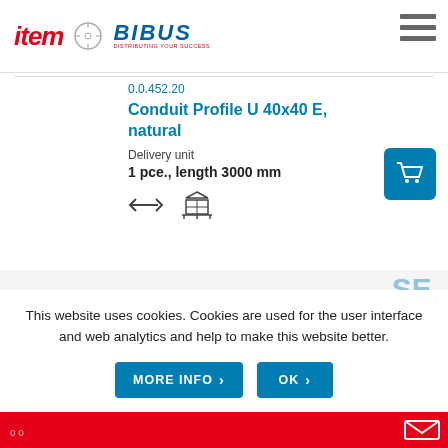[Figure (logo): item and BIBUS logos in header]
0.0.452.20
Conduit Profile U 40x40 E, natural
Delivery unit
1 pce., length 3000 mm
[Figure (illustration): Return arrow and shipping box icons]
This website uses cookies. Cookies are used for the user interface and web analytics and help to make this website better.
MORE INFO  OK